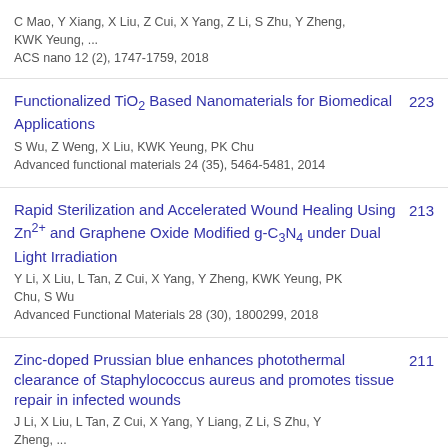C Mao, Y Xiang, X Liu, Z Cui, X Yang, Z Li, S Zhu, Y Zheng, KWK Yeung, ...
ACS nano 12 (2), 1747-1759, 2018
Functionalized TiO2 Based Nanomaterials for Biomedical Applications
223
S Wu, Z Weng, X Liu, KWK Yeung, PK Chu
Advanced functional materials 24 (35), 5464-5481, 2014
Rapid Sterilization and Accelerated Wound Healing Using Zn2+ and Graphene Oxide Modified g-C3N4 under Dual Light Irradiation
213
Y Li, X Liu, L Tan, Z Cui, X Yang, Y Zheng, KWK Yeung, PK Chu, S Wu
Advanced Functional Materials 28 (30), 1800299, 2018
Zinc-doped Prussian blue enhances photothermal clearance of Staphylococcus aureus and promotes tissue repair in infected wounds
211
J Li, X Liu, L Tan, Z Cui, X Yang, Y Liang, Z Li, S Zhu, Y Zheng, ...
Nature communications 10 (1), 1-15, 2019